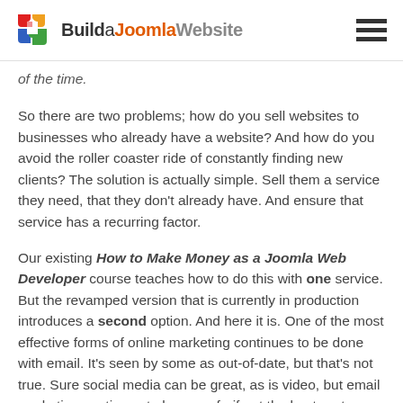BuildaJoomlaWebsite
of the time.
So there are two problems; how do you sell websites to businesses who already have a website? And how do you avoid the roller coaster ride of constantly finding new clients? The solution is actually simple. Sell them a service they need, that they don't already have. And ensure that service has a recurring factor.
Our existing How to Make Money as a Joomla Web Developer course teaches how to do this with one service. But the revamped version that is currently in production introduces a second option. And here it is. One of the most effective forms of online marketing continues to be done with email. It's seen by some as out-of-date, but that's not true. Sure social media can be great, as is video, but email marketing continues to be one of - if not the best - return on investment. It's easy to do, but stacks of businesses don't bother. Here's where you step in.